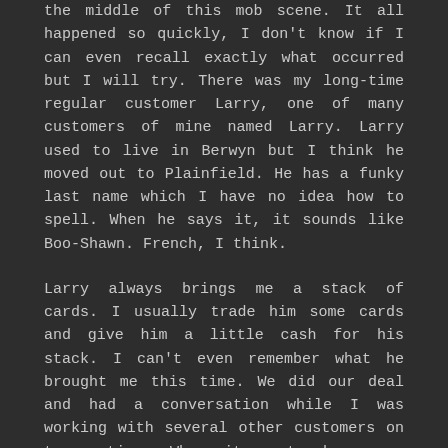the middle of this mob scene. It all happened so quickly, I don't know if I can even recall exactly what occurred but I will try. There was my long-time regular customer Larry, one of many customers of mine named Larry. Larry used to live in Berwyn but I think he moved out to Plainfield. He has a funky last name which I have no idea how to spell. When he says it, it sounds like Boo-Shawn. French, I think.
Larry always brings me a stack of cards. I usually trade him some cards and give him a little cash for his stack. I can't even remember what he brought me this time. We did our deal and had a conversation while I was working with several other customers on transactions. Whew, it was tough.
Rick was there as usual and dug through my 1972-73 Topps basketball. Dave F. was there! I hadn't seen Dave in a year or so then I see him twice in one month!! Dave pulled out quite a few cards from my 1975 Topps minis. Thanks Dave!
Another customer named Larry, spent some time in my 1973 Topps baseball binder. This Larry is a retired Chicago firefighter and lives